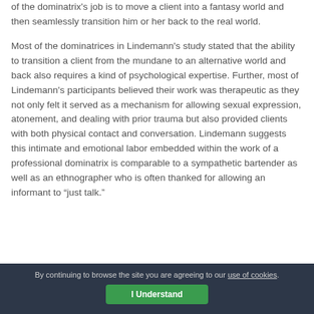of the dominatrix's job is to move a client into a fantasy world and then seamlessly transition him or her back to the real world.
Most of the dominatrices in Lindemann's study stated that the ability to transition a client from the mundane to an alternative world and back also requires a kind of psychological expertise.  Further, most of Lindemann's participants believed their work was therapeutic as they not only felt it served as a mechanism for allowing sexual expression, atonement, and dealing with prior trauma but also provided clients with both physical contact and conversation.  Lindemann suggests this intimate and emotional labor embedded within the work of a professional dominatrix is comparable to a sympathetic bartender as well as an ethnographer who is often thanked for allowing an informant to “just talk.”
By continuing to browse the site you are agreeing to our use of cookies. I Understand